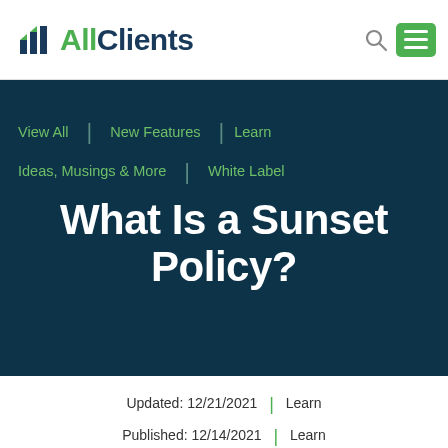AllClients
View All
New Features
Learn
Ideas, Musings & More
White Label
What Is a Sunset Policy?
Updated: 12/21/2021 | Published: 12/14/2021 | Learn